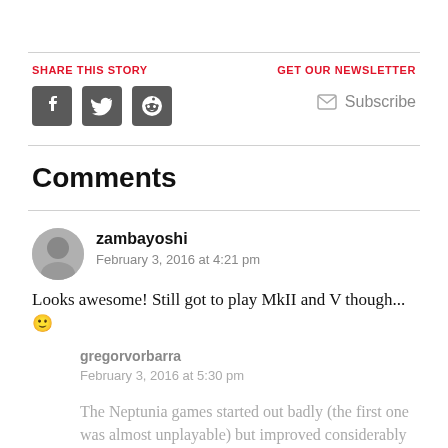SHARE THIS STORY
GET OUR NEWSLETTER
[Figure (illustration): Social media share icons: Facebook, Twitter, Reddit (dark grey rounded square buttons)]
Subscribe
Comments
[Figure (photo): User avatar for zambayoshi - grayscale portrait photo]
zambayoshi
February 3, 2016 at 4:21 pm
Looks awesome! Still got to play MkII and V though...🙂
gregorvorbarra
February 3, 2016 at 5:30 pm
The Neptunia games started out badly (the first one was almost unplayable) but improved considerably